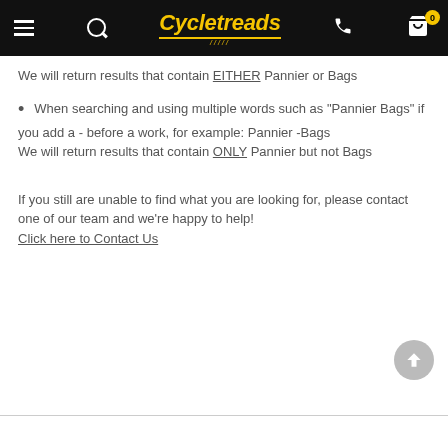Cycletreads
We will return results that contain EITHER Pannier or Bags
When searching and using multiple words such as "Pannier Bags" if you add a - before a work, for example: Pannier -Bags
We will return results that contain ONLY Pannier but not Bags
If you still are unable to find what you are looking for, please contact one of our team and we're happy to help!
Click here to Contact Us